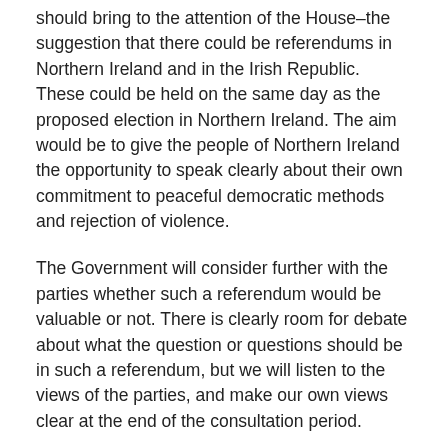should bring to the attention of the House–the suggestion that there could be referendums in Northern Ireland and in the Irish Republic. These could be held on the same day as the proposed election in Northern Ireland. The aim would be to give the people of Northern Ireland the opportunity to speak clearly about their own commitment to peaceful democratic methods and rejection of violence.
The Government will consider further with the parties whether such a referendum would be valuable or not. There is clearly room for debate about what the question or questions should be in such a referendum, but we will listen to the views of the parties, and make our own views clear at the end of the consultation period.